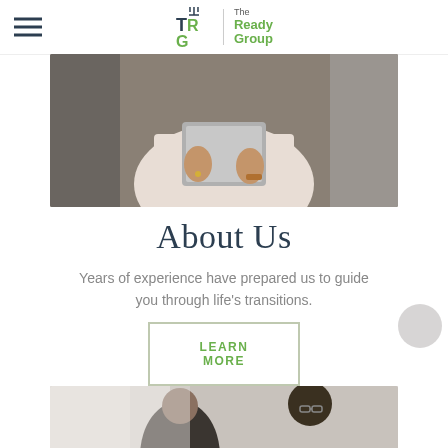The Ready Group
[Figure (photo): Person in light blazer holding a tablet/laptop against their chest, professional office background]
About Us
Years of experience have prepared us to guide you through life's transitions.
LEARN MORE
[Figure (photo): Two people in a meeting or consultation, partial view from bottom of page]